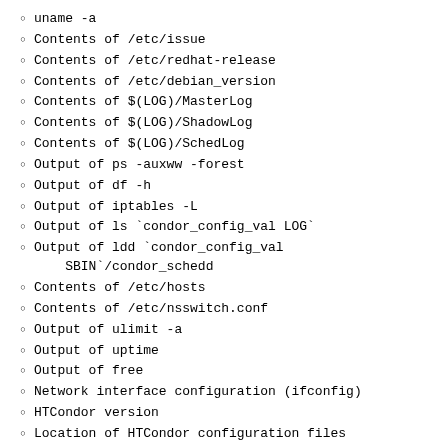uname -a
Contents of /etc/issue
Contents of /etc/redhat-release
Contents of /etc/debian_version
Contents of $(LOG)/MasterLog
Contents of $(LOG)/ShadowLog
Contents of $(LOG)/SchedLog
Output of ps -auxww -forest
Output of df -h
Output of iptables -L
Output of ls `condor_config_val LOG`
Output of ldd `condor_config_val SBIN`/condor_schedd
Contents of /etc/hosts
Contents of /etc/nsswitch.conf
Output of ulimit -a
Output of uptime
Output of free
Network interface configuration (ifconfig)
HTCondor version
Location of HTCondor configuration files
HTCondor configuration variables
All variables and values
Definition locations for each configuration variable